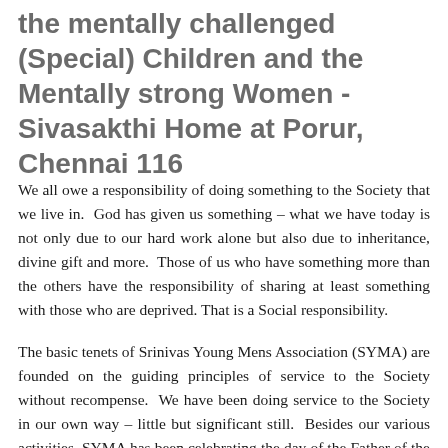the mentally challenged (Special) Children and the Mentally strong Women - Sivasakthi Home at Porur, Chennai 116
We all owe a responsibility of doing something to the Society that we live in. God has given us something – what we have today is not only due to our hard work alone but also due to inheritance, divine gift and more. Those of us who have something more than the others have the responsibility of sharing at least something with those who are deprived. That is a Social responsibility.
The basic tenets of Srinivas Young Mens Association (SYMA) are founded on the guiding principles of service to the Society without recompense. We have been doing service to the Society in our own way – little but significant still. Besides our various activities, SYMA has been celebrating the day of the Father of the Nation by organizing welfare activities like blood donation